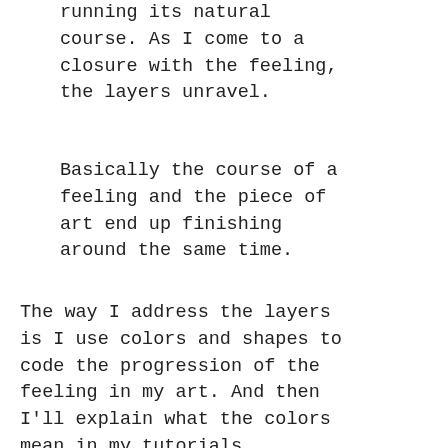running its natural course. As I come to a closure with the feeling, the layers unravel.
Basically the course of a feeling and the piece of art end up finishing around the same time.
The way I address the layers is I use colors and shapes to code the progression of the feeling in my art. And then I'll explain what the colors mean in my tutorials.